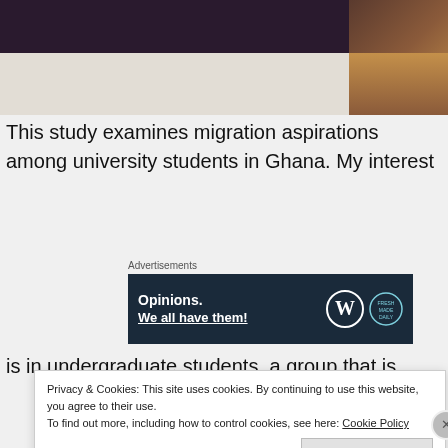[Figure (photo): Photo of a person holding or near a white paper/document, with dark background]
This study examines migration aspirations among university students in Ghana. My interest
[Figure (other): Advertisement banner: Opinions. We all have them! with WordPress and another logo]
is in undergraduate students, a group that is
Privacy & Cookies: This site uses cookies. By continuing to use this website, you agree to their use.
To find out more, including how to control cookies, see here: Cookie Policy
Close and accept